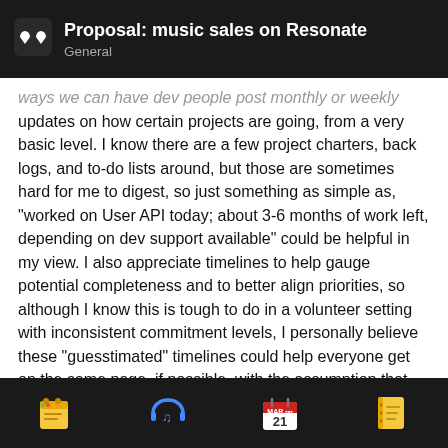Proposal: music sales on Resonate
General
ways we can have dev people post monthly or weekly updates on how certain projects are going, from a very basic level. I know there are a few project charters, back logs, and to-do lists around, but those are sometimes hard for me to digest, so just something as simple as, “worked on User API today; about 3-6 months of work left, depending on dev support available” could be helpful in my view. I also appreciate timelines to help gauge potential completeness and to better align priorities, so although I know this is tough to do in a volunteer setting with inconsistent commitment levels, I personally believe these “guesstimated” timelines could help everyone get on the same page, if possible, with the assumption that things are always subject to change.
Would definitely want to hear more from [redacted] too, as I know he’s done some incredib[le work]
5 / 9